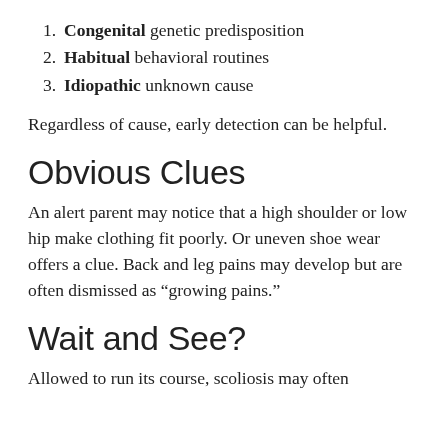1. Congenital genetic predisposition
2. Habitual behavioral routines
3. Idiopathic unknown cause
Regardless of cause, early detection can be helpful.
Obvious Clues
An alert parent may notice that a high shoulder or low hip make clothing fit poorly. Or uneven shoe wear offers a clue. Back and leg pains may develop but are often dismissed as “growing pains.”
Wait and See?
Allowed to run its course, scoliosis may often